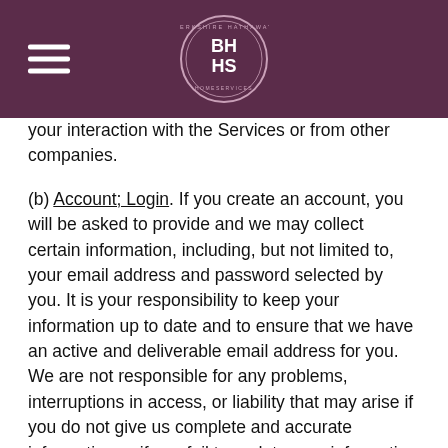BHHS logo and hamburger menu
your interaction with the Services or from other companies.
(b) Account; Login. If you create an account, you will be asked to provide and we may collect certain information, including, but not limited to, your email address and password selected by you. It is your responsibility to keep your information up to date and to ensure that we have an active and deliverable email address for you. We are not responsible for any problems, interruptions in access, or liability that may arise if you do not give us complete and accurate information or if you fail to update your information so that it is current. Specific details on how to correct or change your information are provided on the “Settings” page of “My Account.” Subscription information can be removed from our e-mail lists by changing the “Unsubscribe” settings.
(c) Payments. If you make a payment to MoxiWorks, we will ask for information required for payment processing, such as credit or payment card number, expiration date, CVV number, billing address, company name, and additional information required